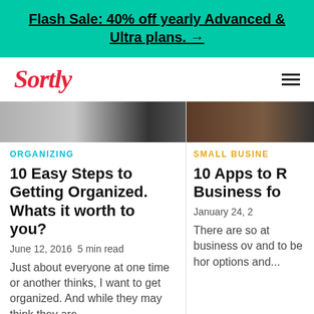Flash Sale: 40% off yearly Advanced & Ultra plans. →
[Figure (logo): Sortly logo in red italic script]
[Figure (photo): Article thumbnail image - interior/organizing]
ORGANIZING
10 Easy Steps to Getting Organized. Whats it worth to you?
June 12, 2016 5 min read
Just about everyone at one time or another thinks, I want to get organized. And while they may think they are
[Figure (photo): Article thumbnail image - small business]
SMALL BUSINE
10 Apps to R Business fo
January 24, 2
There are so at business ov and to be hor options and...